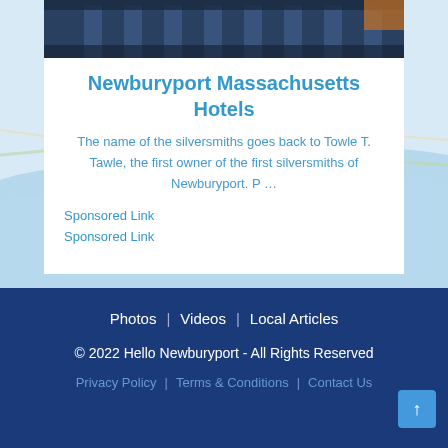[Figure (photo): Building photograph showing architectural columns and facade at top of content card]
Newburyport Massachusetts Hotels
The name of the silversmiths goes back to Towle T. Tawle, the first owner of the first silversmiths of Newburyport. P …
Sponsored Link
Sponsored Link
[Figure (map): Background map showing Newburyport Massachusetts area with waterways and roads]
Photos | Videos | Local Articles
© 2022 Hello Newburyport - All Rights Reserved
Privacy Policy | Terms & Conditions | Contact Us